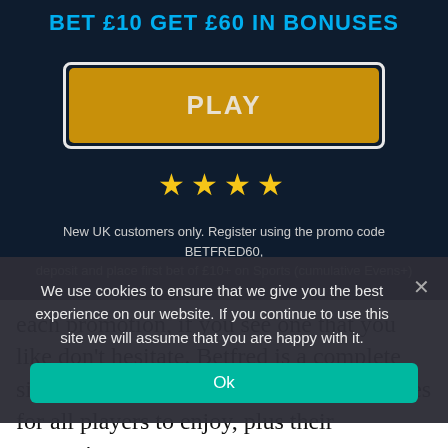BET £10 GET £60 IN BONUSES
[Figure (other): Orange PLAY button with light border]
[Figure (other): Four gold stars rating]
New UK customers only. Register using the promo code BETFRED60, deposit and place first bet of £10+ on Sports (cumulative Evens+)
We use cookies to ensure that we give you the best experience on our website. If you continue to use this site we will assume that you are happy with it.
each promotion, if you see one that you like don't hesitate. Betfred is a complete site with a number of categories and games for all players to enjoy, plus their promotions